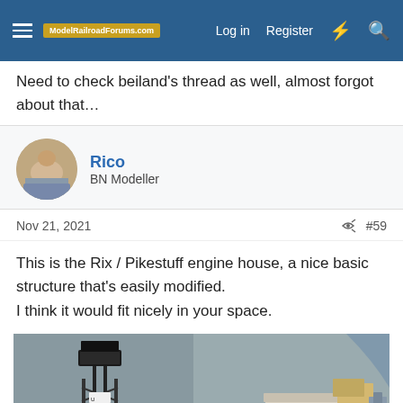ModelRailroadForums.com  Log in  Register
Need to check beiland's thread as well, almost forgot about that…
Rico
BN Modeller
Nov 21, 2021  #59
This is the Rix / Pikestuff engine house, a nice basic structure that's easily modified.
I think it would fit nicely in your space.
[Figure (photo): Photo of a model railroad scene featuring a tall yard light tower in the foreground and a small engine house structure in the background, set on a layout with grey background walls.]